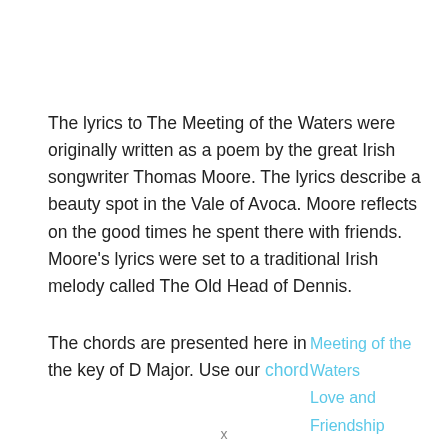The lyrics to The Meeting of the Waters were originally written as a poem by the great Irish songwriter Thomas Moore. The lyrics describe a beauty spot in the Vale of Avoca. Moore reflects on the good times he spent there with friends. Moore's lyrics were set to a traditional Irish melody called The Old Head of Dennis.
The chords are presented here in the key of D Major. Use our chord [continues]
Meeting of the Waters
Love and Friendship